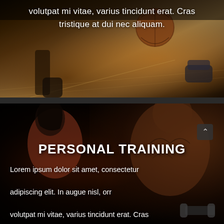[Figure (photo): Basketball player on court, low angle shot showing legs and a basketball on a hardwood floor, with text overlay]
volutpat mi vitae, varius tincidunt erat. Cras tristique at dui nec aliquam.
[Figure (photo): Two fitness models: a woman in a red sports bra viewed from behind on the left, and a muscular shirtless man on the right, dark gym background]
PERSONAL TRAINING
Lorem ipsum dolor sit amet, consectetur adipiscing elit. In augue nisl, orr volutpat mi vitae, varius tincidunt erat. Cras